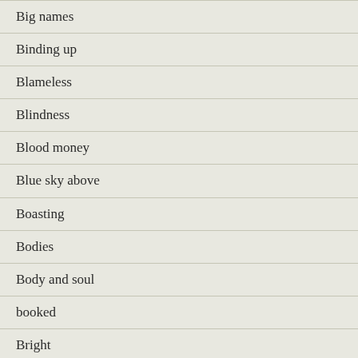Big names
Binding up
Blameless
Blindness
Blood money
Blue sky above
Boasting
Bodies
Body and soul
booked
Bright
Brunch